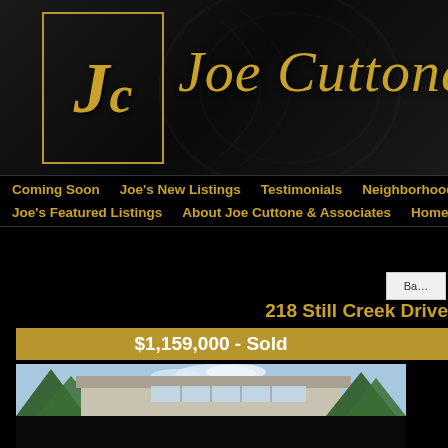[Figure (logo): Joe Cuttone real estate logo with gold JC monogram in bordered box and cursive 'Joe Cuttone' text on dark background]
Coming Soon | Joe's New Listings | Testimonials | Neighborhoods | Showcase | Joe's Featured Listings | About Joe Cuttone & Associates | Home Staging
218 Still Creek Drive
$1,159,000  -  Sold
[Figure (photo): Exterior photo of a mid-century modern house with large windows, light-colored exterior, surrounded by trees, with blue sky overhead]